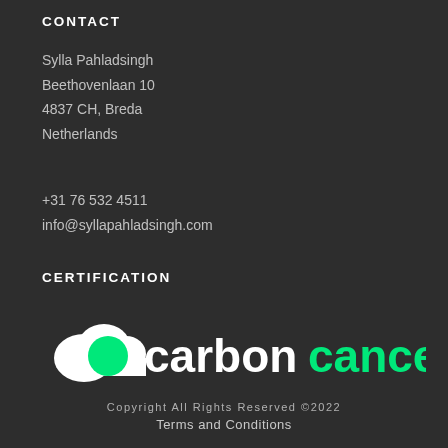CONTACT
Sylla Pahladsingh
Beethovenlaan 10
4837 CH, Breda
Netherlands
+31 76 532 4511
info@syllapahladsingh.com
CERTIFICATION
[Figure (logo): CarbonCancel logo: white cloud with green circle, text 'carbon' in white and 'cancel' in green]
Copyright All Rights Reserved ©2022
Terms and Conditions